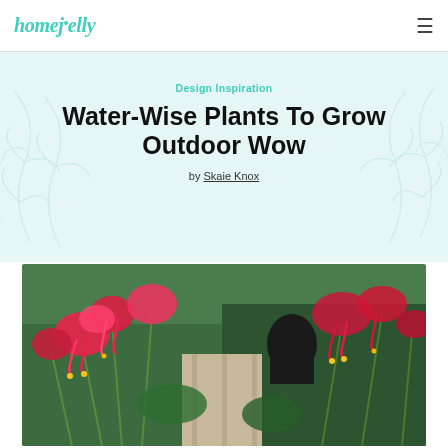homejelly
Design Inspiration
Water-Wise Plants To Grow Outdoor Wow
by Skaie Knox
[Figure (photo): Close-up photograph of bright pink/red flowers (possibly coral bells or similar drought-tolerant plants) in a garden setting with green foliage and a walkway visible in the background.]